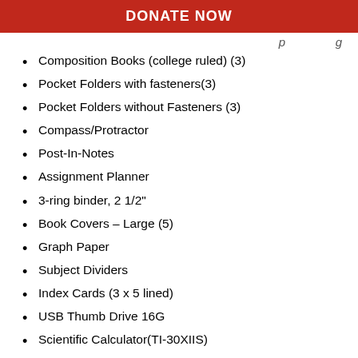DONATE NOW
Composition Books (college ruled) (3)
Pocket Folders with fasteners(3)
Pocket Folders without Fasteners (3)
Compass/Protractor
Post-In-Notes
Assignment Planner
3-ring binder, 2 1/2"
Book Covers – Large (5)
Graph Paper
Subject Dividers
Index Cards (3 x 5 lined)
USB Thumb Drive 16G
Scientific Calculator(TI-30XIIS)
Hand Sanitizer